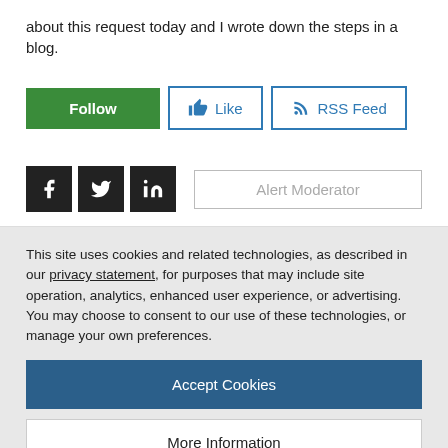about this request today and I wrote down the steps in a blog.
[Figure (screenshot): Follow, Like, and RSS Feed buttons in a row]
[Figure (screenshot): Social media icons (Facebook, Twitter, LinkedIn) on left; Alert Moderator button on right]
This site uses cookies and related technologies, as described in our privacy statement, for purposes that may include site operation, analytics, enhanced user experience, or advertising. You may choose to consent to our use of these technologies, or manage your own preferences.
[Figure (screenshot): Accept Cookies button]
[Figure (screenshot): More Information button]
Privacy Policy | Powered by: TrustArc
Financial Planning Options in S/4HANA (2020/2021 releases)